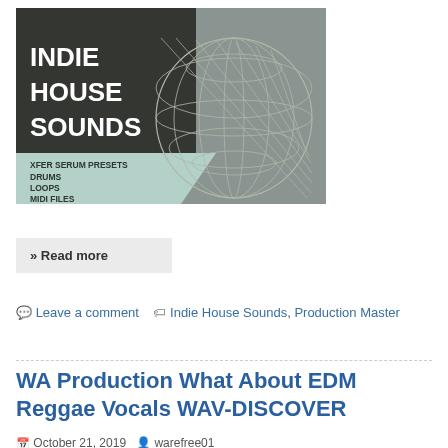[Figure (illustration): Indie House Sounds promotional image showing a mesh sphere sculpture on a grey background with text overlaid: INDIE HOUSE SOUNDS, XFER SERUM PRESETS, DRUMS, LOOPS, MIDI FILES, ONE-SHOTS]
» Read more
Leave a comment  Indie House Sounds, Production Master
WA Production What About EDM Reggae Vocals WAV-DISCOVER
October 21, 2019  warefree01